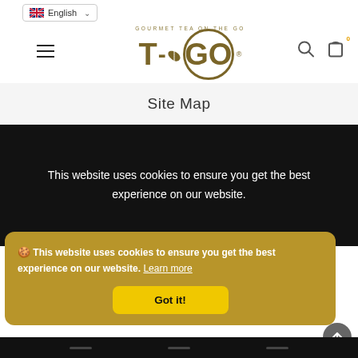English language selector | T-GO Gourmet Tea On The Go logo | Search | Cart (0)
Site Map
This website uses cookies to ensure you get the best experience on our website.
🍪 This website uses cookies to ensure you get the best experience on our website. Learn more
Got it!